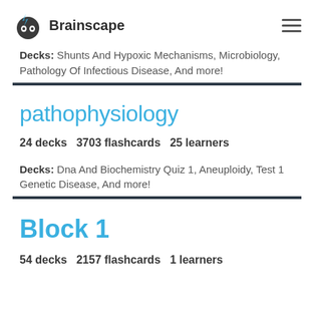Brainscape
Decks: Shunts And Hypoxic Mechanisms, Microbiology, Pathology Of Infectious Disease, And more!
pathophysiology
24 decks   3703 flashcards   25 learners
Decks: Dna And Biochemistry Quiz 1, Aneuploidy, Test 1 Genetic Disease, And more!
Block 1
54 decks   2157 flashcards   1 learners